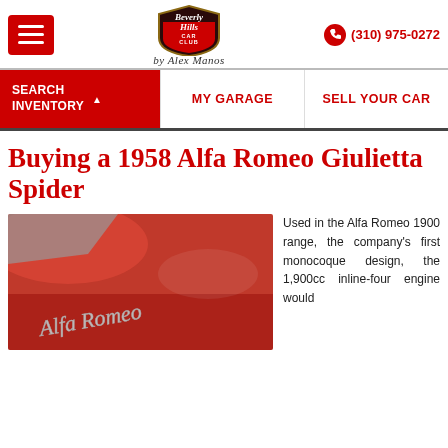Beverly Hills Car Club by Alex Manos — (310) 975-0272
SEARCH INVENTORY | MY GARAGE | SELL YOUR CAR
Buying a 1958 Alfa Romeo Giulietta Spider
[Figure (photo): Close-up photo of a red Alfa Romeo car showing the chrome script badge reading 'Alfa Romeo' on a red body panel]
Used in the Alfa Romeo 1900 range, the company's first monocoque design, the 1,900cc inline-four engine would